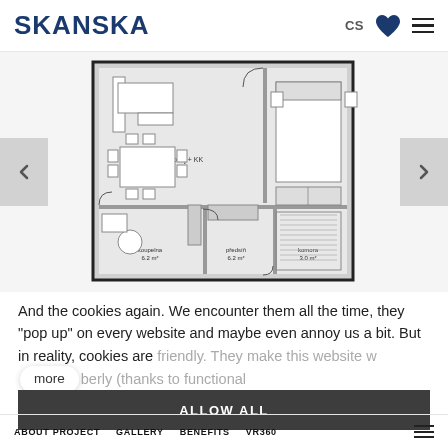SKANSKA
[Figure (engineering-diagram): Floor plan of a Czech apartment showing: obývací pokoj + KK 22.2 m², ložnice 14.2 m², koupelna 6.2 m², předsíň 6.2 m², komora 3.0 m². Left and right navigation arrows visible.]
And the cookies again. We encounter them all the time, they "pop up" on every website and maybe even annoy us a bit. But in reality, cookies are friendly. They make this website work properly (thanks to functional
ALLOW ALL
ABOUT PROJECT   GALLERY   BENEFITS   VR360